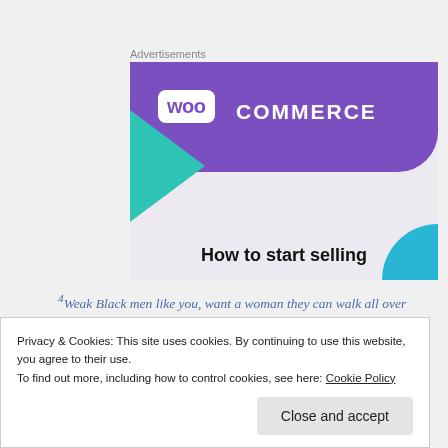Advertisements
[Figure (illustration): WooCommerce advertisement banner with purple header, teal triangle on left, blue quarter-circle bottom right, and text 'How to start selling']
4 Weak Black men like you, want a woman they can walk all over
Privacy & Cookies: This site uses cookies. By continuing to use this website, you agree to their use.
To find out more, including how to control cookies, see here: Cookie Policy
Close and accept